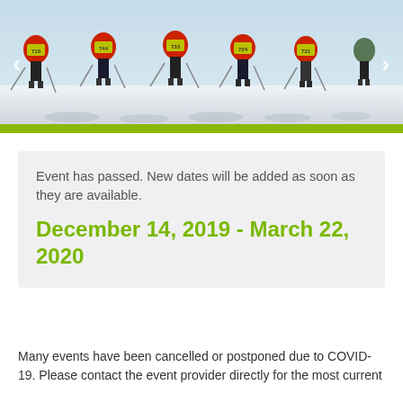[Figure (photo): Group of cross-country skiers wearing numbered orange bibs (744, 733 visible) and using ski poles, photographed from behind on a snowy course. Navigation arrows on left and right sides. Green bar at bottom of image.]
Event has passed. New dates will be added as soon as they are available.
December 14, 2019 - March 22, 2020
Many events have been cancelled or postponed due to COVID-19. Please contact the event provider directly for the most current